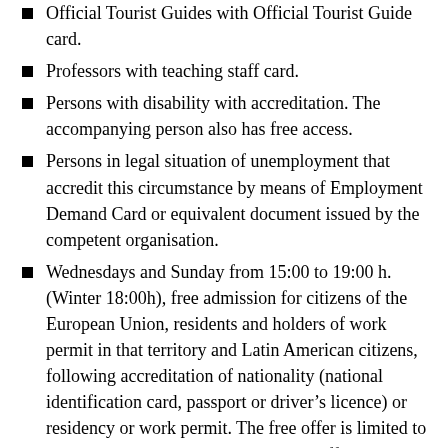Official Tourist Guides with Official Tourist Guide card.
Professors with teaching staff card.
Persons with disability with accreditation. The accompanying person also has free access.
Persons in legal situation of unemployment that accredit this circumstance by means of Employment Demand Card or equivalent document issued by the competent organisation.
Wednesdays and Sunday from 15:00 to 19:00 h. (Winter 18:00h), free admission for citizens of the European Union, residents and holders of work permit in that territory and Latin American citizens, following accreditation of nationality (national identification card, passport or driver’s licence) or residency or work permit. The free offer is limited to the tour without guide. Only in ticket office
Group Admission
Tourist